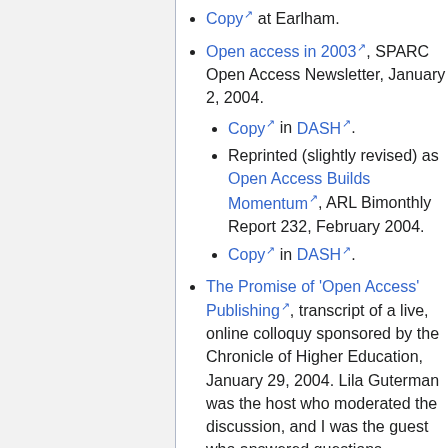Copy at Earlham.
Open access in 2003, SPARC Open Access Newsletter, January 2, 2004.
Copy in DASH.
Reprinted (slightly revised) as Open Access Builds Momentum, ARL Bimonthly Report 232, February 2004.
Copy in DASH.
The Promise of 'Open Access' Publishing, transcript of a live, online colloquy sponsored by the Chronicle of Higher Education, January 29, 2004. Lila Guterman was the host who moderated the discussion, and I was the guest who answered questions.
The many-copy problem and the